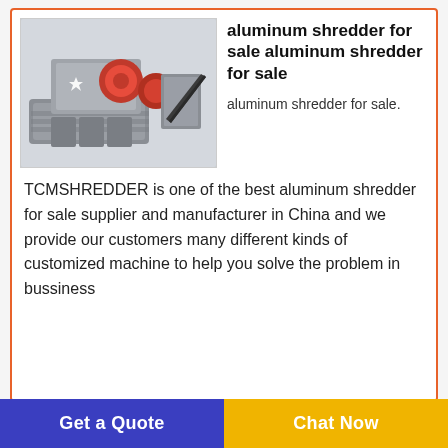[Figure (photo): Industrial aluminum shredder machine — large grey metal unit with red rollers and conveyor belt, rendered in 3D]
aluminum shredder for sale aluminum shredder for sale
aluminum shredder for sale.
TCMSHREDDER is one of the best aluminum shredder for sale supplier and manufacturer in China and we provide our customers many different kinds of customized machine to help you solve the problem in bussiness
[Figure (photo): KPS2016 Vertical Hammermill machine — red and black heavy industrial machine with control panel]
KPS2016 Vertical Hammermill
Get a Quote
Chat Now